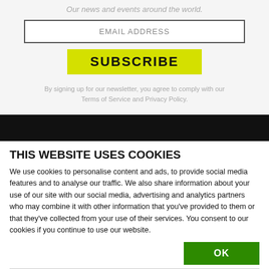Our news and events around the world.
EMAIL ADDRESS
SUBSCRIBE
By signing up for our newsletter, you agree to comply with our Terms of Service and Privacy Policy.
THIS WEBSITE USES COOKIES
We use cookies to personalise content and ads, to provide social media features and to analyse our traffic. We also share information about your use of our site with our social media, advertising and analytics partners who may combine it with other information that you've provided to them or that they've collected from your use of their services. You consent to our cookies if you continue to use our website.
OK
NECESSARY PREFERENCES STATISTICS MARKETING Show details